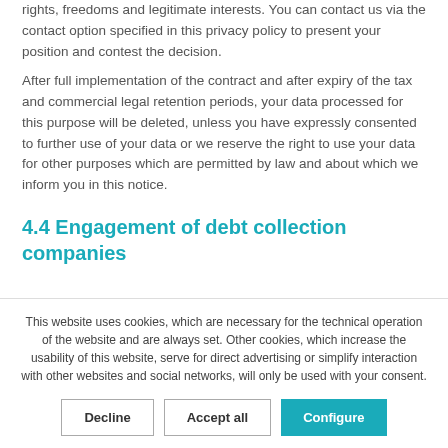rights, freedoms and legitimate interests. You can contact us via the contact option specified in this privacy policy to present your position and contest the decision.
After full implementation of the contract and after expiry of the tax and commercial legal retention periods, your data processed for this purpose will be deleted, unless you have expressly consented to further use of your data or we reserve the right to use your data for other purposes which are permitted by law and about which we inform you in this notice.
4.4 Engagement of debt collection companies
This website uses cookies, which are necessary for the technical operation of the website and are always set. Other cookies, which increase the usability of this website, serve for direct advertising or simplify interaction with other websites and social networks, will only be used with your consent.